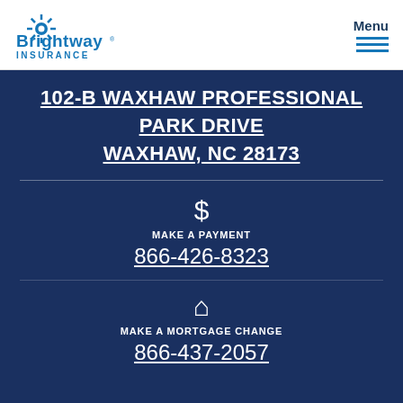[Figure (logo): Brightway Insurance logo — blue star-burst above company name in blue text]
Menu
102-B WAXHAW PROFESSIONAL PARK DRIVE WAXHAW, NC 28173
$ MAKE A PAYMENT
866-426-8323
⌂ MAKE A MORTGAGE CHANGE
866-437-2057